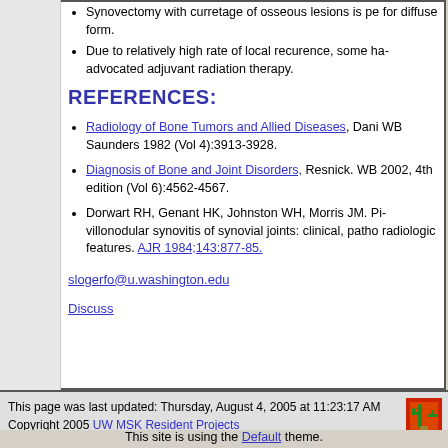Synovectomy with curretage of osseous lesions is pe... for diffuse form.
Due to relatively high rate of local recurence, some ha... advocated adjuvant radiation therapy.
REFERENCES:
Radiology of Bone Tumors and Allied Diseases, Dani... WB Saunders 1982 (Vol 4):3913-3928.
Diagnosis of Bone and Joint Disorders, Resnick. WB... 2002, 4th edition (Vol 6):4562-4567.
Dorwart RH, Genant HK, Johnston WH, Morris JM. Pi... villonodular synovitis of synovial joints: clinical, patho... radiologic features. AJR 1984;143:877-85.
slogerfo@u.washington.edu
Discuss
This page was last updated: Thursday, August 4, 2005 at 11:23:17 AM
Copyright 2005 UW MSK Resident Projects
This site is using the Default theme.